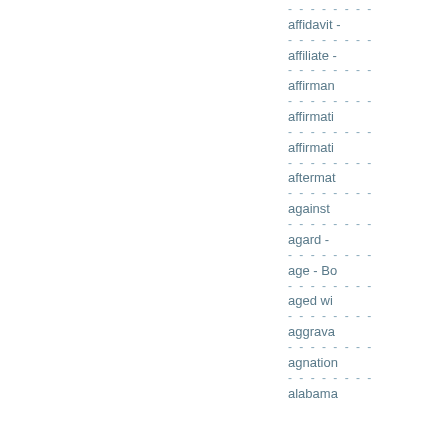- - - - - - - -
affidavit -
- - - - - - - -
affiliate -
- - - - - - - -
affirman
- - - - - - - -
affirmati
- - - - - - - -
affirmati
- - - - - - - -
aftermat
- - - - - - - -
against
- - - - - - - -
agard -
- - - - - - - -
age - Bo
- - - - - - - -
aged wi
- - - - - - - -
aggrava
- - - - - - - -
agnation
- - - - - - - -
alabama